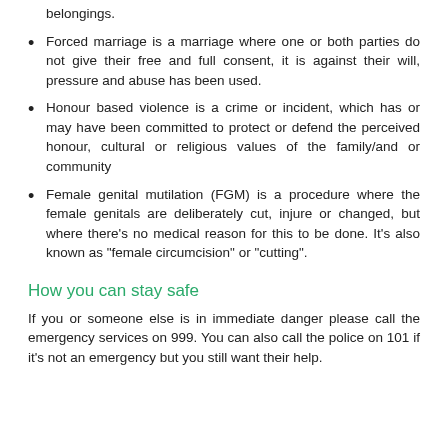belongings.
Forced marriage is a marriage where one or both parties do not give their free and full consent, it is against their will, pressure and abuse has been used.
Honour based violence is a crime or incident, which has or may have been committed to protect or defend the perceived honour, cultural or religious values of the family/and or community
Female genital mutilation (FGM) is a procedure where the female genitals are deliberately cut, injure or changed, but where there’s no medical reason for this to be done. It’s also known as “female circumcision” or “cutting”.
How you can stay safe
If you or someone else is in immediate danger please call the emergency services on 999. You can also call the police on 101 if it’s not an emergency but you still want their help.